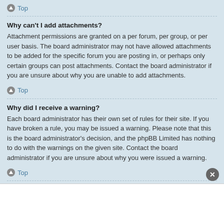Top
Why can't I add attachments?
Attachment permissions are granted on a per forum, per group, or per user basis. The board administrator may not have allowed attachments to be added for the specific forum you are posting in, or perhaps only certain groups can post attachments. Contact the board administrator if you are unsure about why you are unable to add attachments.
Top
Why did I receive a warning?
Each board administrator has their own set of rules for their site. If you have broken a rule, you may be issued a warning. Please note that this is the board administrator's decision, and the phpBB Limited has nothing to do with the warnings on the given site. Contact the board administrator if you are unsure about why you were issued a warning.
Top
How can I report posts to a moderator?